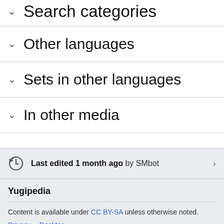Search categories
Other languages
Sets in other languages
In other media
Last edited 1 month ago by SMbot
Yugipedia
Content is available under CC BY-SA unless otherwise noted.
Privacy • Desktop